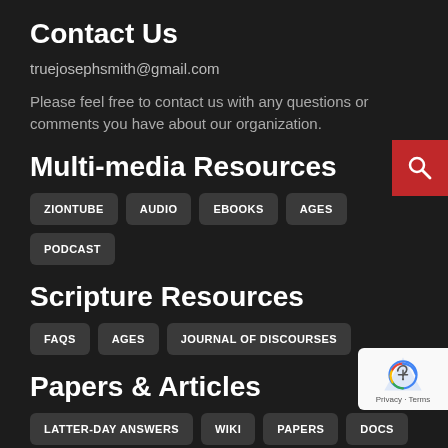Contact Us
truejosephsmith@gmail.com
Please feel free to contact us with any questions or comments you have about our organization.
Multi-media Resources
ZIONTUBE
AUDIO
EBOOKS
AGES
PODCAST
Scripture Resources
FAQS
AGES
JOURNAL OF DISCOURSES
Papers & Articles
LATTER-DAY ANSWERS
WIKI
PAPERS
DOCS
REFERE...